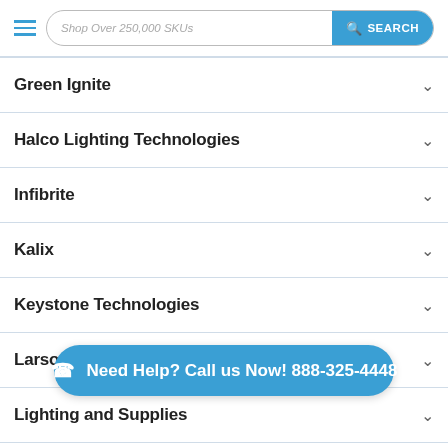Shop Over 250,000 SKUs  SEARCH
Green Ignite
Halco Lighting Technologies
Infibrite
Kalix
Keystone Technologies
Larson Electronics
Lighting and Supplies
Litetronics
Need Help? Call us Now! 888-325-4448